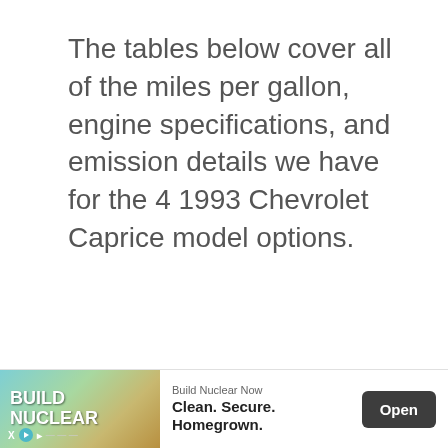The tables below cover all of the miles per gallon, engine specifications, and emission details we have for the 4 1993 Chevrolet Caprice model options.
[Figure (other): Advertisement banner for 'Build Nuclear Now' campaign with text 'Build Nuclear Now', 'Clean. Secure. Homegrown.' and an 'Open' button]